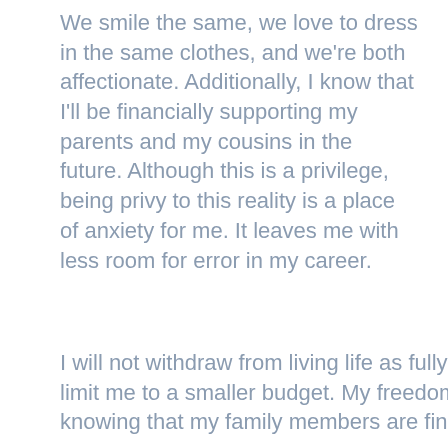We smile the same, we love to dress in the same clothes, and we're both affectionate. Additionally, I know that I'll be financially supporting my parents and my cousins in the future. Although this is a privilege, being privy to this reality is a place of anxiety for me. It leaves me with less room for error in my career.
I will not withdraw from living life as fully as I can, but my parameters limit me to a smaller budget. My freedom as a Filipina can't come without knowing that my family members are financially taken care of.